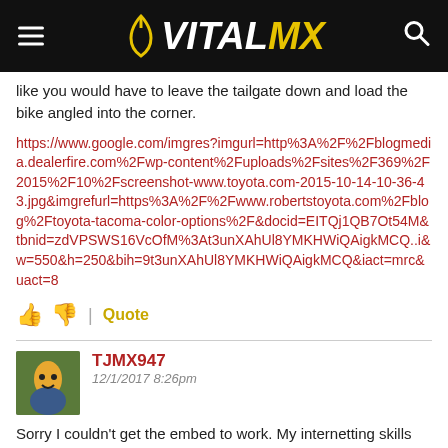VITALMX
like you would have to leave the tailgate down and load the bike angled into the corner.
https://www.google.com/imgres?imgurl=http%3A%2F%2Fblogmedia.dealerfire.com%2Fwp-content%2Fuploads%2Fsites%2F369%2F2015%2F10%2Fscreenshot-www.toyota.com-2015-10-14-10-36-43.jpg&imgrefurl=https%3A%2F%2Fwww.robertstoyota.com%2Fblog%2Ftoyota-tacoma-color-options%2F&docid=EITQj1QB7Ot54M&tbnid=zdVPSWS16VcOfM%3At3unXAhUl8YMKHWiQAigkMCQ..i&w=550&h=250&bih=9t3unXAhUl8YMKHWiQAigkMCQ&iact=mrc&uact=8
Quote
TJMX947
12/1/2017 8:26pm
Sorry I couldn't get the embed to work. My internetting skills aren't